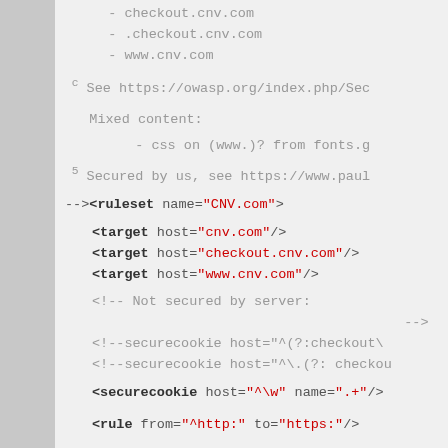- checkout.cnv.com
- .checkout.cnv.com
- www.cnv.com
c See https://owasp.org/index.php/Sec
Mixed content:
- css on (www.)? from fonts.g
5 Secured by us, see https://www.paul
--><ruleset name="CNV.com">

    <target host="cnv.com"/>
    <target host="checkout.cnv.com"/>
    <target host="www.cnv.com"/>

    <!--    Not secured by server:
                                    -->
    <!--securecookie host="^(?:checkout\
    <!--securecookie host="^\.(?: checkout

    <securecookie host="^\w" name=".+"/>


    <rule from="^http:" to="https:"/>